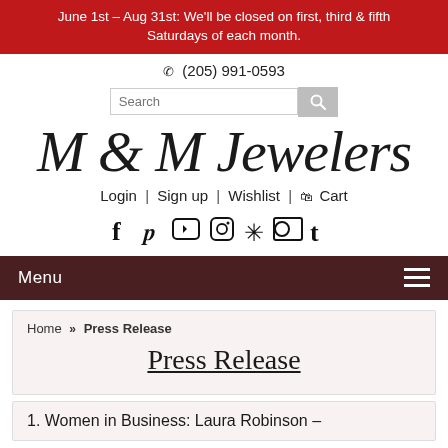June 1st – Aug 31st: We'll be closed on first, third & fifth Saturdays of each month.
(205) 991-0593
[Figure (screenshot): Search bar with magnifying glass button]
M & M Jewelers
Login | Sign up | Wishlist | Cart
[Figure (infographic): Social media icons: Facebook, Pinterest, YouTube, Instagram, Yelp, Flickr, Tumblr]
Menu
Home » Press Release
Press Release
1. Women in Business: Laura Robinson –